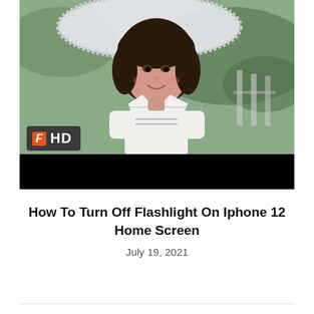[Figure (photo): Screenshot-style card thumbnail showing a young girl with dark hair holding a white lace parasol/umbrella, wearing a sailor-style top. A dark overlay bar at the bottom contains nothing visible. An HD badge with stylized F logo appears in the lower-left of the image area.]
How To Turn Off Flashlight On Iphone 12 Home Screen
July 19, 2021